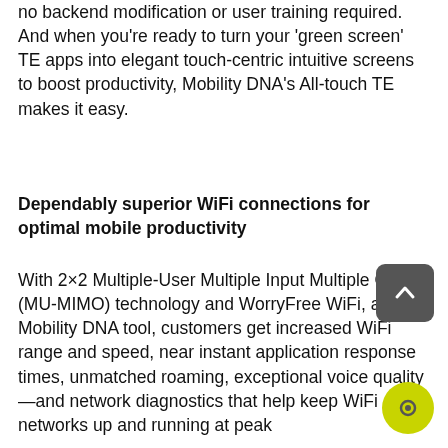no backend modification or user training required. And when you're ready to turn your 'green screen' TE apps into elegant touch-centric intuitive screens to boost productivity, Mobility DNA's All-touch TE makes it easy.
Dependably superior WiFi connections for optimal mobile productivity
With 2×2 Multiple-User Multiple Input Multiple Output (MU-MIMO) technology and WorryFree WiFi, a free Mobility DNA tool, customers get increased WiFi range and speed, near instant application response times, unmatched roaming, exceptional voice quality—and network diagnostics that help keep WiFi networks up and running at peak